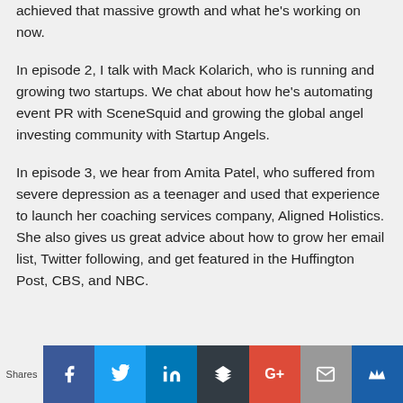achieved that massive growth and what he's working on now.
In episode 2, I talk with Mack Kolarich, who is running and growing two startups. We chat about how he's automating event PR with SceneSquid and growing the global angel investing community with Startup Angels.
In episode 3, we hear from Amita Patel, who suffered from severe depression as a teenager and used that experience to launch her coaching services company, Aligned Holistics. She also gives us great advice about how to grow her email list, Twitter following, and get featured in the Huffington Post, CBS, and NBC.
Shares | Facebook | Twitter | LinkedIn | Buffer | Google+ | Email | King